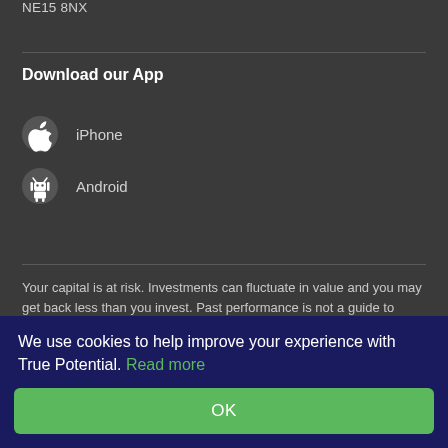NE15 8NX
Download our App
iPhone
Android
Your capital is at risk. Investments can fluctuate in value and you may get back less than you invest. Past performance is not a guide to future performance. Tax rules can change at any time.
I offer advice on limited types of products. Primarily, I will advise on strategy funds and tax wrappers held on the True Potential
We use cookies to help improve your experience with True Potential. Read more
OK